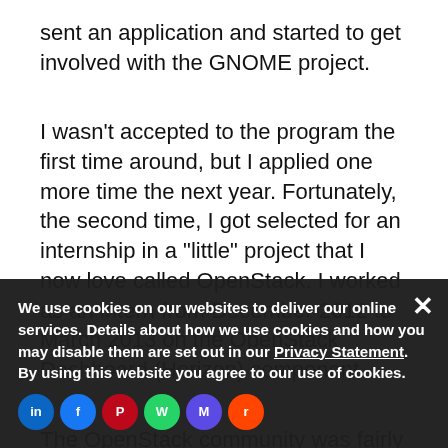sent an application and started to get involved with the GNOME project.
I wasn't accepted to the program the first time around, but I applied one more time the next year. Fortunately, the second time, I got selected for an internship in a "little" project that I now love called OpenStack. I worked as an intern from December 2012 to March 2013 on the OpenStack Dashboard (Horizon) component.
The OpenStack community was fairly small at that time, and I got to know many talented and
We use cookies on our websites to deliver our online services. Details about how we use cookies and how you may disable them are set out in our Privacy Statement. By using this website you agree to our use of cookies.